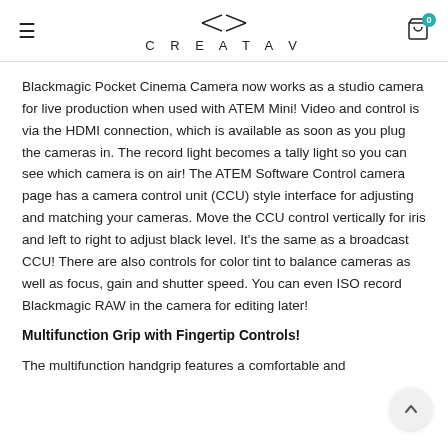CREATAV
Blackmagic Pocket Cinema Camera now works as a studio camera for live production when used with ATEM Mini! Video and control is via the HDMI connection, which is available as soon as you plug the cameras in. The record light becomes a tally light so you can see which camera is on air! The ATEM Software Control camera page has a camera control unit (CCU) style interface for adjusting and matching your cameras. Move the CCU control vertically for iris and left to right to adjust black level. It's the same as a broadcast CCU! There are also controls for color tint to balance cameras as well as focus, gain and shutter speed. You can even ISO record Blackmagic RAW in the camera for editing later!
Multifunction Grip with Fingertip Controls!
The multifunction handgrip features a comfortable and